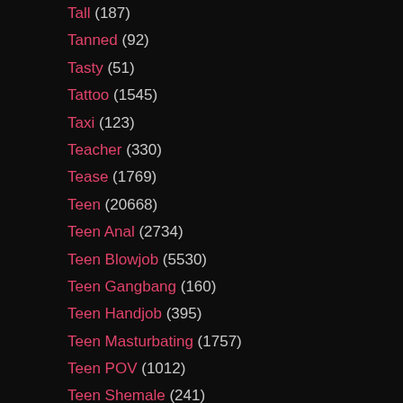Tall (187)
Tanned (92)
Tasty (51)
Tattoo (1545)
Taxi (123)
Teacher (330)
Tease (1769)
Teen (20668)
Teen Anal (2734)
Teen Blowjob (5530)
Teen Gangbang (160)
Teen Handjob (395)
Teen Masturbating (1757)
Teen POV (1012)
Teen Shemale (241)
Tennis (24)